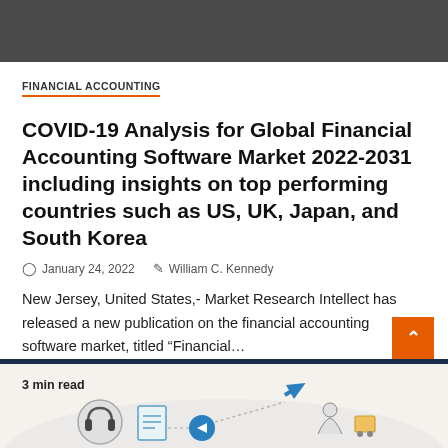FINANCIAL ACCOUNTING
COVID-19 Analysis for Global Financial Accounting Software Market 2022-2031 including insights on top performing countries such as US, UK, Japan, and South Korea
January 24, 2022   William C. Kennedy
New Jersey, United States,- Market Research Intellect has released a new publication on the financial accounting software market, titled “Financial…
3 min read